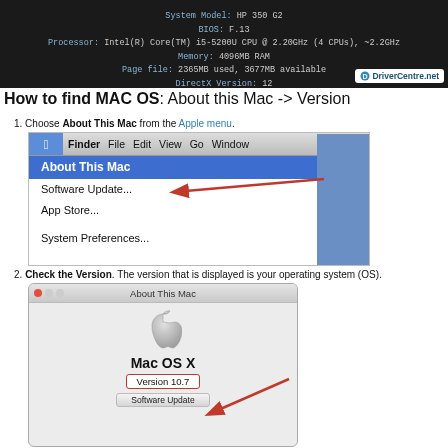[Figure (screenshot): System information screenshot showing System Model: HP 350 G2, BIOS: F.13, Processor: Intel(R) Core(TM) i5-5200U CPU @ 2.20GHz (4 CPUs), ~2.2GHz, Memory: 4096MB RAM, Page file: 2365MB used, 3677MB available, DirectX Version: 12, with DriverCentre.net watermark]
How to find MAC OS: About this Mac -> Version
1. Choose About This Mac from the Apple menu.
[Figure (screenshot): Mac OS X Finder menu bar with Apple menu open, showing About This Mac highlighted in blue, Software Update..., App Store..., and System Preferences... options. A red arrow points to About This Mac.]
2. Check the Version. The version that is displayed is your operating system (OS).
[Figure (screenshot): About This Mac dialog showing Mac OS X logo, Mac OS X text, Version 10.7 highlighted with red border, and Software Update button. A red arrow points to Version 10.7.]